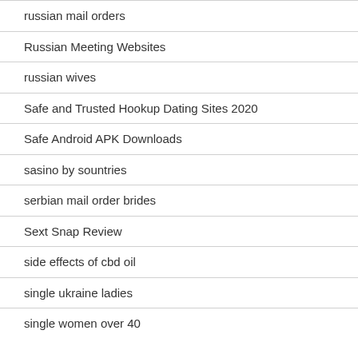russian mail orders
Russian Meeting Websites
russian wives
Safe and Trusted Hookup Dating Sites 2020
Safe Android APK Downloads
sasino by sountries
serbian mail order brides
Sext Snap Review
side effects of cbd oil
single ukraine ladies
single women over 40